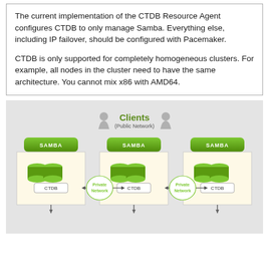The current implementation of the CTDB Resource Agent configures CTDB to only manage Samba. Everything else, including IP failover, should be configured with Pacemaker.
CTDB is only supported for completely homogeneous clusters. For example, all nodes in the cluster need to have the same architecture. You cannot mix x86 with AMD64.
[Figure (engineering-diagram): Network diagram showing CTDB cluster with three nodes, each containing SAMBA and CTDB components, connected via Private Network links, with Clients on Public Network at top.]